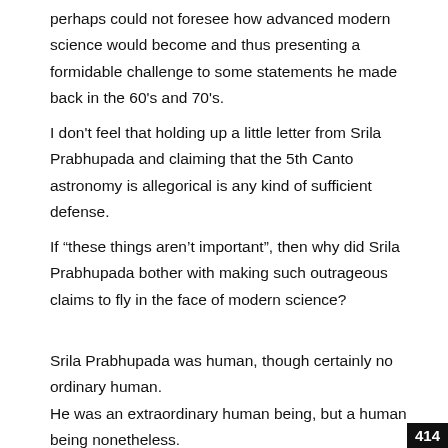perhaps could not foresee how advanced modern science would become and thus presenting a formidable challenge to some statements he made back in the 60's and 70's.
I don't feel that holding up a little letter from Srila Prabhupada and claiming that the 5th Canto astronomy is allegorical is any kind of sufficient defense.
If “these things aren’t important”, then why did Srila Prabhupada bother with making such outrageous claims to fly in the face of modern science?
Srila Prabhupada was human, though certainly no ordinary human.
He was an extraordinary human being, but a human being nonetheless.
414